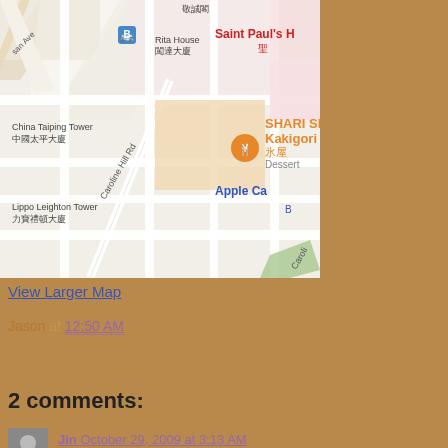[Figure (map): Google Maps screenshot showing SHARI SHARI Kakigori House (ice dessert restaurant) in Hong Kong, near Caroline Hill Rd. Visible landmarks: Rita House 闖達大廈, China Taiping Tower 中國太平大廈, Lippo Leighton Tower 力寶禮頓大廈, Saint Paul's H 聖, Apple Ca, Caroline Hill Rd road label. Orange map pin for SHARI SHARI Kakigori House 氷屋 Dessert. Blue bus stop icon visible.]
View Larger Map
Jason at 12:50 AM
Share
2 comments:
Jin October 29, 2009 at 3:13 AM